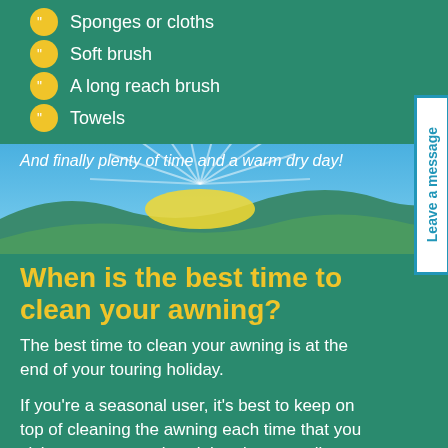Sponges or cloths
Soft brush
A long reach brush
Towels
And finally plenty of time and a warm dry day!
When is the best time to clean your awning?
The best time to clean your awning is at the end of your touring holiday.
If you’re a seasonal user, it’s best to keep on top of cleaning the awning each time that you visit your caravan, by wiping down small stains, dirt and light marks with warm water.
Where should you clean your